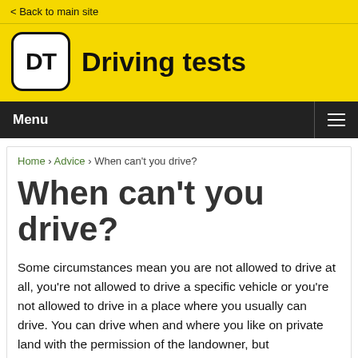< Back to main site
[Figure (logo): Driving Tests logo: yellow rounded square with DT text, followed by bold text 'Driving tests']
Menu
Home › Advice › When can't you drive?
When can't you drive?
Some circumstances mean you are not allowed to drive at all, you're not allowed to drive a specific vehicle or you're not allowed to drive in a place where you usually can drive. You can drive when and where you like on private land with the permission of the landowner, but